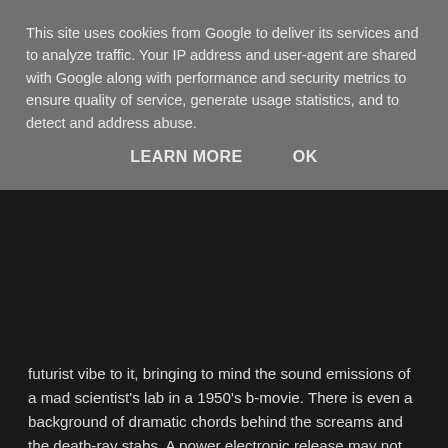This site uses cookies from Google to deliver its services and to analyze traffic. Your IP address and user-agent are shared with Google along with performance and security metrics to ensure quality of service, generate usage statistics, and to detect and address abuse.
LEARN MORE     OK
futurist vibe to it, bringing to mind the sound emissions of a mad scientist's lab in a 1950's b-movie. There is even a background of dramatic chords behind the screams and the death-ray stabs. A power electronic release may not be intended to make one smile, but with 'Who Will Help Me Wash My Right Hand', IFOTS bring a most enjoyable kind of hurt.
PANICMACHINE
Share
Wednesday, 22 May 2013